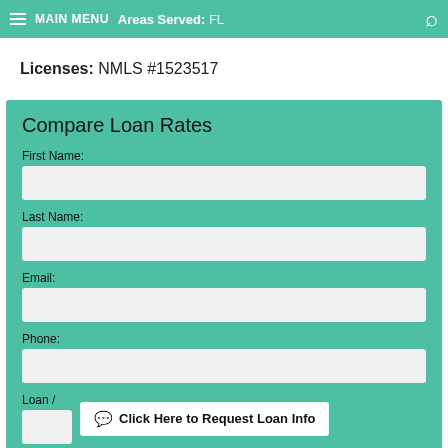MAIN MENU  Areas Served: FL
Licenses: NMLS #1523517
Compare Loan Rates
First Name:
Last Name:
Email:
Phone:
Loan /
Click Here to Request Loan Info